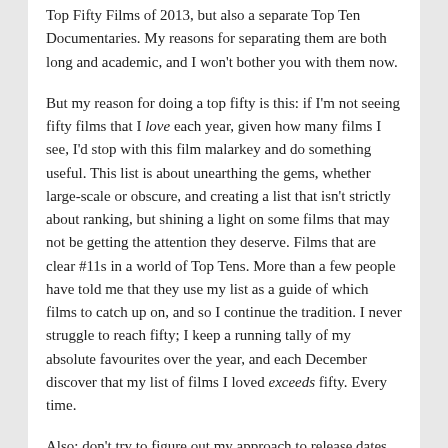Top Fifty Films of 2013, but also a separate Top Ten Documentaries. My reasons for separating them are both long and academic, and I won't bother you with them now.
But my reason for doing a top fifty is this: if I'm not seeing fifty films that I love each year, given how many films I see, I'd stop with this film malarkey and do something useful. This list is about unearthing the gems, whether large-scale or obscure, and creating a list that isn't strictly about ranking, but shining a light on some films that may not be getting the attention they deserve. Films that are clear #11s in a world of Top Tens. More than a few people have told me that they use my list as a guide of which films to catch up on, and so I continue the tradition. I never struggle to reach fifty; I keep a running tally of my absolute favourites over the year, and each December discover that my list of films I loved exceeds fifty. Every time.
Also: don't try to figure out my approach to release dates. If anyone's really interested I can provide an explanation below, but basically my list includes 2013 films released in